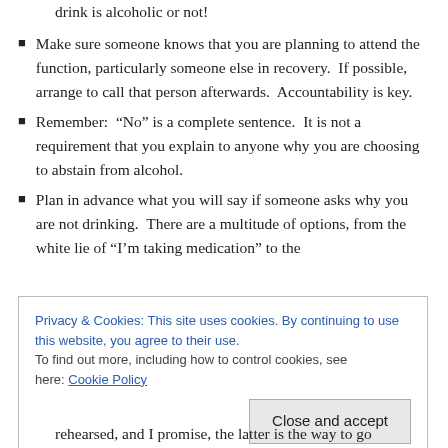drink is alcoholic or not!
Make sure someone knows that you are planning to attend the function, particularly someone else in recovery.  If possible, arrange to call that person afterwards.  Accountability is key.
Remember:  “No” is a complete sentence.  It is not a requirement that you explain to anyone why you are choosing to abstain from alcohol.
Plan in advance what you will say if someone asks why you are not drinking.  There are a multitude of options, from the white lie of “I’m taking medication” to the
Privacy & Cookies: This site uses cookies. By continuing to use this website, you agree to their use.
To find out more, including how to control cookies, see here: Cookie Policy
rehearsed, and I promise, the latter is the way to go